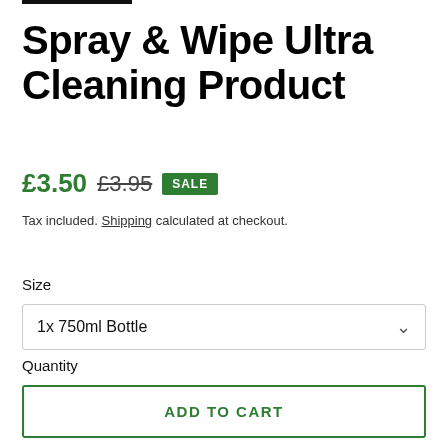Spray & Wipe Ultra Cleaning Product
£3.50  £3.95  SALE
Tax included. Shipping calculated at checkout.
Size
1x 750ml Bottle
Quantity
1
ADD TO CART